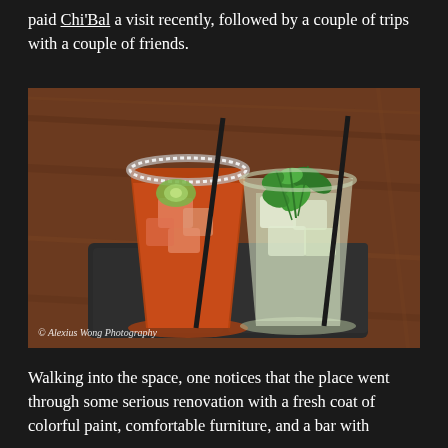paid Chi'Bal a visit recently, followed by a couple of trips with a couple of friends.
[Figure (photo): Two cocktail drinks on a dark slate coaster on a wooden table. Left drink is a reddish-orange cocktail with a salted rim, cucumber slice, ice, and a black straw. Right drink is a clear/green cocktail with fresh mint leaves, ice, and a black straw. Photo watermark reads: © Alexius Wong Photography]
Walking into the space, one notices that the place went through some serious renovation with a fresh coat of colorful paint, comfortable furniture, and a bar with